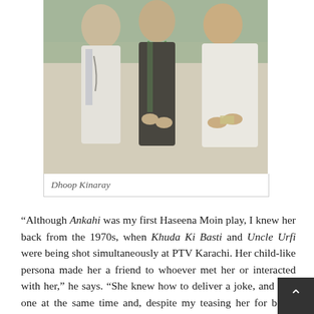[Figure (photo): Black and white / faded color photograph showing three people standing together, appearing to be from a television drama set. They are wearing traditional South Asian clothing.]
Dhoop Kinaray
“Although Ankahi was my first Haseena Moin play, I knew her back from the 1970s, when Khuda Ki Basti and Uncle Urfi were being shot simultaneously at PTV Karachi. Her child-like persona made her a friend to whoever met her or interacted with her,” he says. “She knew how to deliver a joke, and take one at the same time and, despite my teasing her for being single, she would always smile innocently. She was not just a wonderful writer but also had a dynamic personality that was gentle, kind, and loving. She was patient with everyone she worked with and, even though her directors changed her scripts from time to